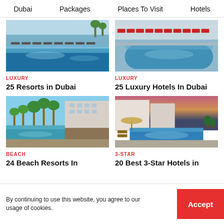Dubai   Packages   Places To Visit   Hotels
[Figure (photo): Resort swimming pool with blue water and lounge chairs]
LUXURY
25 Resorts in Dubai
[Figure (photo): Luxury hotel pool with red chairs and outdoor seating]
LUXURY
25 Luxury Hotels In Dubai
[Figure (photo): Beach resort with palm trees and infinity pool]
BEACH
24 Beach Resorts In
[Figure (photo): Rooftop pool at sunset with lounge chairs and umbrella]
3-STAR
20 Best 3-Star Hotels in
By continuing to use this website, you agree to our usage of cookies.